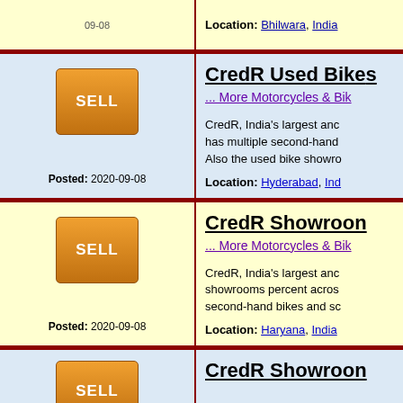Location: Bhilwara, India
CredR Used Bikes
... More Motorcycles & Bikes
CredR, India's largest and... has multiple second-hand... Also the used bike showro...
Location: Hyderabad, India
Posted: 2020-09-08
CredR Showroom
... More Motorcycles & Bikes
CredR, India's largest and... showrooms percent acros... second-hand bikes and so...
Location: Haryana, India
Posted: 2020-09-08
CredR Showroom